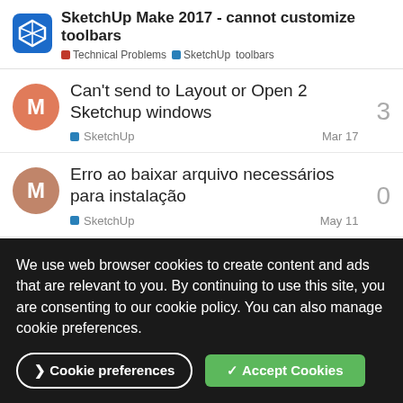SketchUp Make 2017 - cannot customize toolbars | Technical Problems | SketchUp | toolbars
Can't send to Layout or Open 2 Sketchup windows — SketchUp — Mar 17 — 3 replies
Erro ao baixar arquivo necessários para instalação — SketchUp — May 11 — 0 replies
SketchUp Search (shift+s) Windows bug? — SketchUp — bug — May 12 — 4 replies
We use web browser cookies to create content and ads that are relevant to you. By continuing to use this site, you are consenting to our cookie policy. You can also manage cookie preferences.